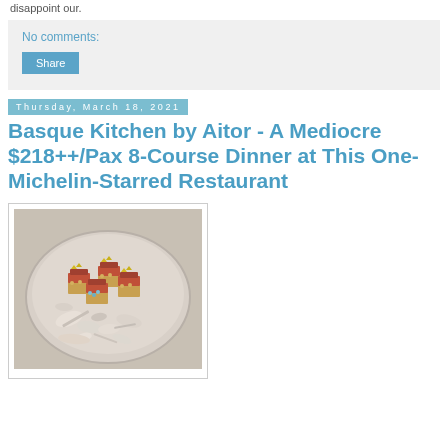disappoint our.
No comments:
Share
Thursday, March 18, 2021
Basque Kitchen by Aitor - A Mediocre $218++/Pax 8-Course Dinner at This One-Michelin-Starred Restaurant
[Figure (photo): A ceramic bowl filled with small white shells and stones, on top of which are arranged several rectangular appetizers topped with orange/red fish (likely tuna), caviar pearls, and yellow garnish]